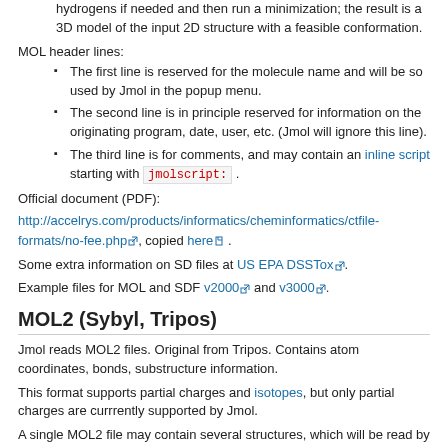hydrogens if needed and then run a minimization; the result is a 3D model of the input 2D structure with a feasible conformation.
MOL header lines:
The first line is reserved for the molecule name and will be so used by Jmol in the popup menu.
The second line is in principle reserved for information on the originating program, date, user, etc. (Jmol will ignore this line).
The third line is for comments, and may contain an inline script starting with jmolscript: .
Official document (PDF):
http://accelrys.com/products/informatics/cheminformatics/ctfile-formats/no-fee.php, copied here .
Some extra information on SD files at US EPA DSSTox .
Example files for MOL and SDF v2000 and v3000 .
MOL2 (Sybyl, Tripos)
Jmol reads MOL2 files. Original from Tripos. Contains atom coordinates, bonds, substructure information.
This format supports partial charges and isotopes, but only partial charges are currrently supported by Jmol.
A single MOL2 file may contain several structures, which will be read by Jmol as multiple models or frames.